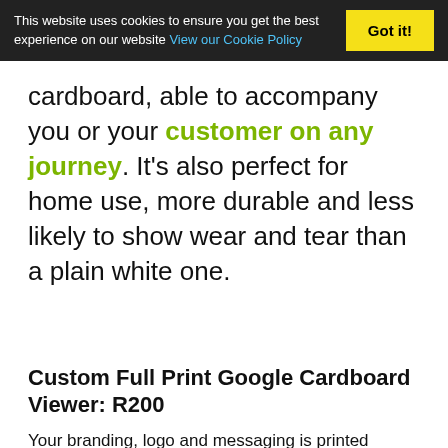This website uses cookies to ensure you get the best experience on our website View our Cookie Policy  Got it!
cardboard, able to accompany you or your customer on any journey. It's also perfect for home use, more durable and less likely to show wear and tear than a plain white one.
Custom Full Print Google Cardboard Viewer: R200
Your branding, logo and messaging is printed directly onto the premium quality cardboard viewer. Send us your specified design and your full colour print will be displayed on the viewer.